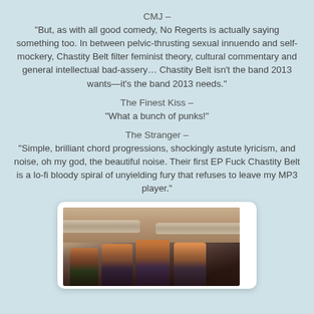CMJ –
“But, as with all good comedy, No Regerts is actually saying something too. In between pelvic-thrusting sexual innuendo and self-mockery, Chastity Belt filter feminist theory, cultural commentary and general intellectual bad-assery… Chastity Belt isn’t the band 2013 wants—it’s the band 2013 needs.”
The Finest Kiss –
“What a bunch of punks!”
The Stranger –
“Simple, brilliant chord progressions, shockingly astute lyricism, and noise, oh my god, the beautiful noise. Their first EP Fuck Chastity Belt is a lo-fi bloody spiral of unyielding fury that refuses to leave my MP3 player.”
[Figure (photo): Band photo of four women standing in what appears to be a bus or van interior, holding instruments/items, photo displayed in a white rounded frame]